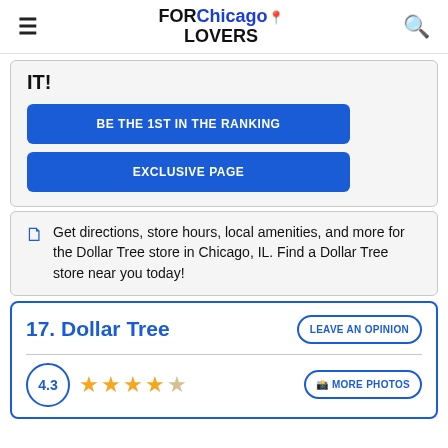FOR Chicago LOVERS
IT!
BE THE 1ST IN THE RANKING
EXCLUSIVE PAGE
Get directions, store hours, local amenities, and more for the Dollar Tree store in Chicago, IL. Find a Dollar Tree store near you today!
17. Dollar Tree
LEAVE AN OPINION
4.3
MORE PHOTOS